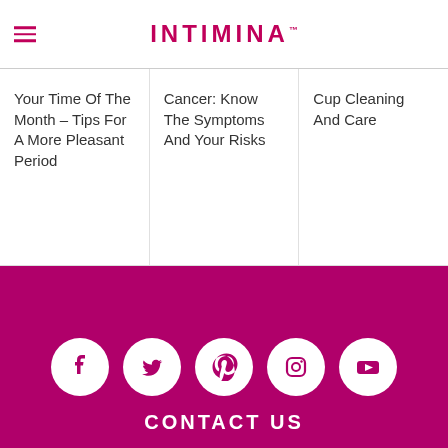INTIMINA
Your Time Of The Month – Tips For A More Pleasant Period
Cancer: Know The Symptoms And Your Risks
Cup Cleaning And Care
[Figure (infographic): Social media icons: Facebook, Twitter, Pinterest, Instagram, YouTube on magenta footer background]
CONTACT US